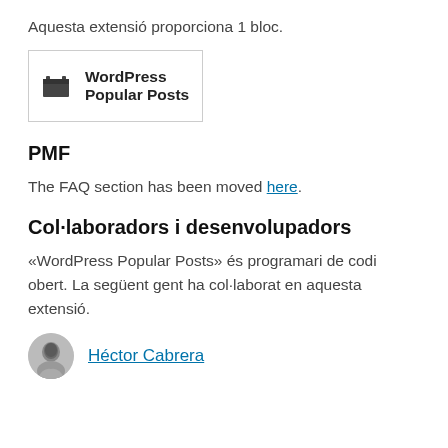Aquesta extensió proporciona 1 bloc.
[Figure (other): Block icon box showing a calendar/grid icon with label 'WordPress Popular Posts']
PMF
The FAQ section has been moved here.
Col·laboradors i desenvolupadors
«WordPress Popular Posts» és programari de codi obert. La següent gent ha col·laborat en aquesta extensió.
Héctor Cabrera